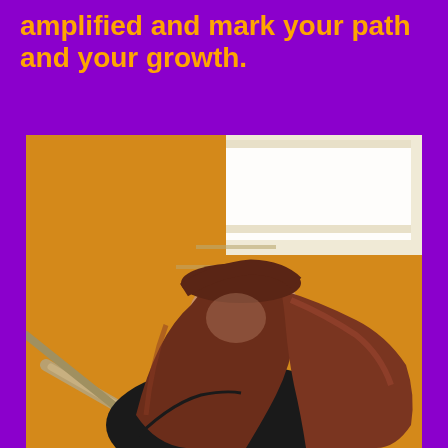amplified and mark your path and your growth.
[Figure (photo): A young woman with long reddish-brown hair, wearing a black choker necklace and black top, photographed from below with her head tilted back and eyes closed. The background shows a warm orange-yellow wall and a staircase railing, with bright light in the upper area.]